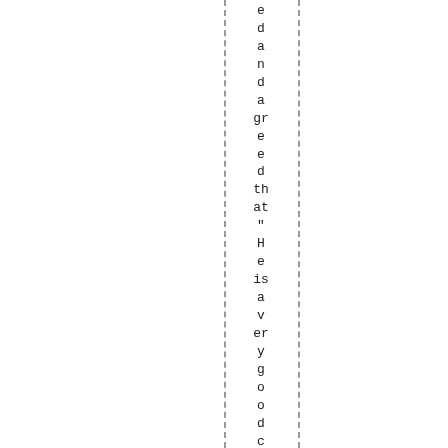e d a n d a gr e e d th at " H e is a v er y g o o d c o a ch" –